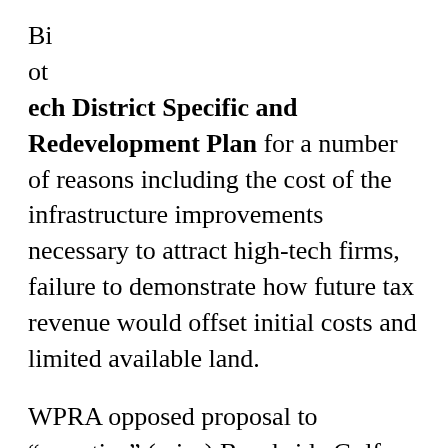Biotech District Specific and Redevelopment Plan for a number of reasons including the cost of the infrastructure improvements necessary to attract high-tech firms, failure to demonstrate how future tax revenue would offset initial costs and limited available land.
WPRA opposed proposal to “resortize” (raise) Brookside Golf Course fees.